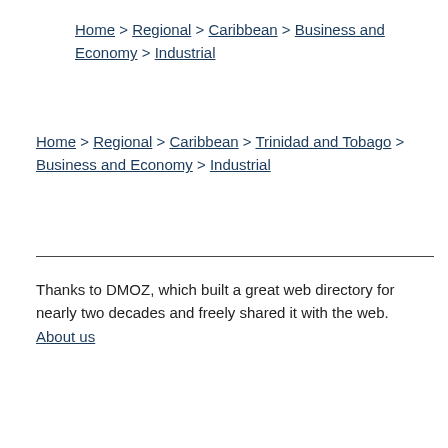Home > Regional > Caribbean > Business and Economy > Industrial
Home > Regional > Caribbean > Trinidad and Tobago > Business and Economy > Industrial
Thanks to DMOZ, which built a great web directory for nearly two decades and freely shared it with the web. About us